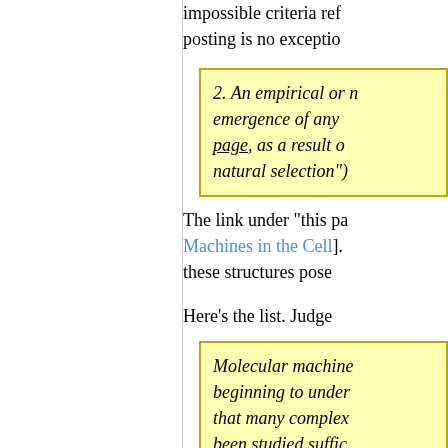impossible criteria ref… posting is no exceptio…
2. An empirical or n… emergence of any … page, as a result o… natural selection")
The link under "this pa… Machines in the Cell]. these structures pose…
Here's the list. Judge…
Molecular machine… beginning to under… that many comple… been studied suffic… irreducible comple… mutational sensitiv…